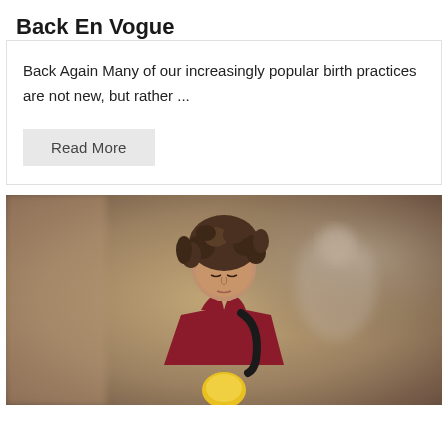Back En Vogue
Back Again Many of our increasingly popular birth practices are not new, but rather ...
Read More
[Figure (photo): A young woman with curly hair wearing a burgundy sleeveless top and a black backpack, looking downward, photographed outdoors with a blurred background.]